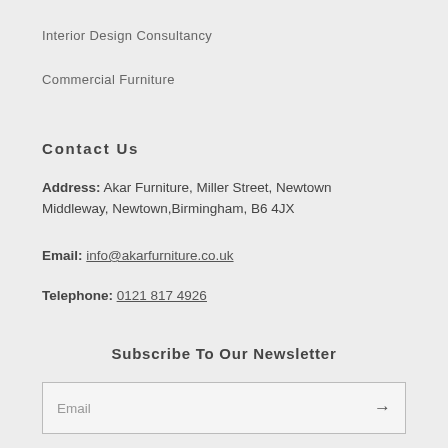Interior Design Consultancy
Commercial Furniture
Contact Us
Address: Akar Furniture, Miller Street, Newtown Middleway, Newtown,Birmingham, B6 4JX
Email: info@akarfurniture.co.uk
Telephone: 0121 817 4926
Subscribe To Our Newsletter
Email